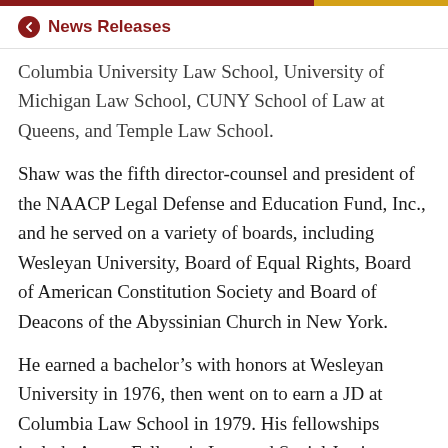News Releases
Columbia University Law School, University of Michigan Law School, CUNY School of Law at Queens, and Temple Law School.
Shaw was the fifth director-counsel and president of the NAACP Legal Defense and Education Fund, Inc., and he served on a variety of boards, including Wesleyan University, Board of Equal Rights, Board of American Constitution Society and Board of Deacons of the Abyssinian Church in New York.
He earned a bachelor’s with honors at Wesleyan University in 1976, then went on to earn a JD at Columbia Law School in 1979. His fellowships include Aspen Fellow in Law and Social Justice, Twenty-First Century Trust Fellow in London…